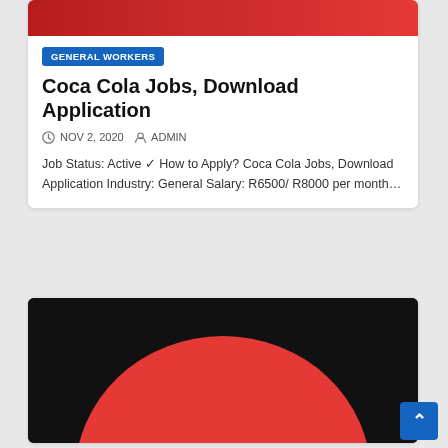[Figure (photo): Top portion of a Coca Cola themed image with red and dark colors, partially cropped]
GENERAL WORKERS
Coca Cola Jobs, Download Application
NOV 2, 2020   ADMIN
Job Status: Active ✓ How to Apply? Coca Cola Jobs, Download Application Industry: General Salary: R6500/ R8000 per month…
[Figure (photo): Second card image showing black background with large red circle (Coca Cola logo element)]